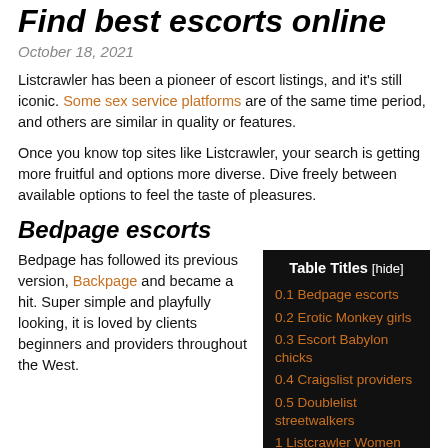Find best escorts online
October 18, 2021
Listcrawler has been a pioneer of escort listings, and it's still iconic. Some sex service platforms are of the same time period, and others are similar in quality or features.
Once you know top sites like Listcrawler, your search is getting more fruitful and options more diverse. Dive freely between available options to feel the taste of pleasures.
Bedpage escorts
Bedpage has followed its previous version, Backpage and became a hit. Super simple and playfully looking, it is loved by clients beginners and providers throughout the West.
| Table Titles [hide] |
| --- |
| 0.1 Bedpage escorts |
| 0.2 Erotic Monkey girls |
| 0.3 Escort Babylon chicks |
| 0.4 Craigslist providers |
| 0.5 Doublelist streetwalkers |
| 1 Listcrawler Women Hookups |